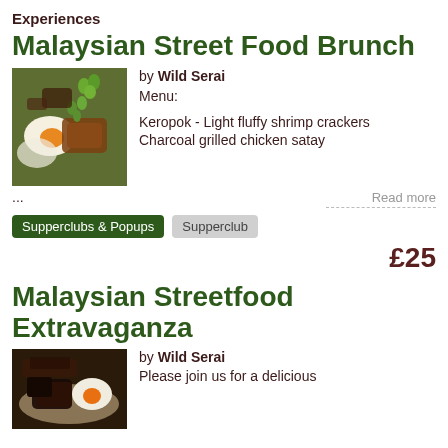Experiences
Malaysian Street Food Brunch
[Figure (photo): Malaysian nasi lemak style dish on a green banana leaf with fried egg, green beans, and fried chicken pieces]
by Wild Serai
Menu:
Keropok - Light fluffy shrimp crackers
Charcoal grilled chicken satay
...
Read more
Supperclubs & Popups   Supperclub
£25
Malaysian Streetfood Extravaganza
[Figure (photo): Malaysian street food dish with fried egg and dark soy braised meat]
by Wild Serai
Please join us for a delicious